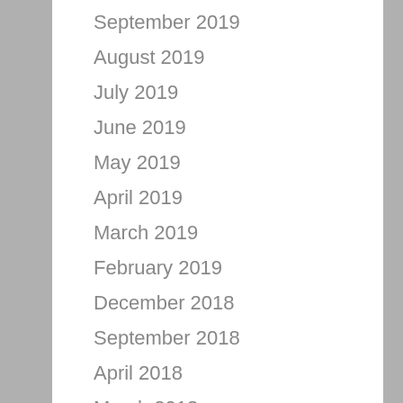September 2019
August 2019
July 2019
June 2019
May 2019
April 2019
March 2019
February 2019
December 2018
September 2018
April 2018
March 2018
February 2018